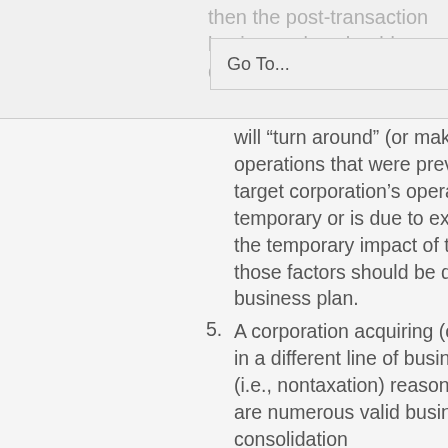then the post-transaction business plan should demonstrate how the transaction
Go To...
will “turn around” (or make profitable) the business operations that were previously operating at a loss. If the target corporation’s operating loss is expected to be temporary or is due to extraordinary circumstances (e.g., the temporary impact of the COVID-19 pandemic), then those factors should be described in the post-transaction business plan.
5. A corporation acquiring (or merging with) a target company in a different line of business should describe the business (i.e., nontaxation) reasons for the M&A transaction. There are numerous valid business purposes for such consolidation